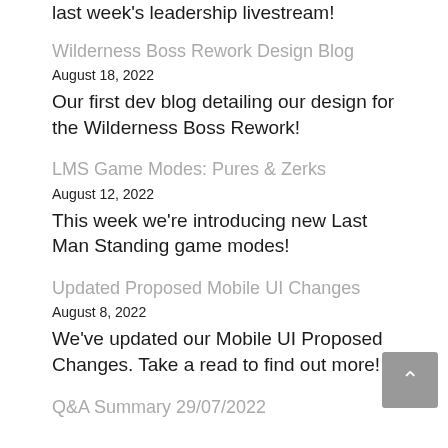last week's leadership livestream!
Wilderness Boss Rework Design Blog
August 18, 2022
Our first dev blog detailing our design for the Wilderness Boss Rework!
LMS Game Modes: Pures & Zerks
August 12, 2022
This week we're introducing new Last Man Standing game modes!
Updated Proposed Mobile UI Changes
August 8, 2022
We've updated our Mobile UI Proposed Changes. Take a read to find out more!
Q&A Summary 29/07/2022